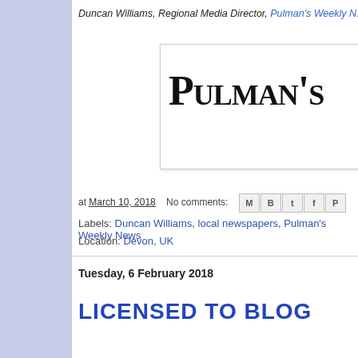Duncan Williams, Regional Media Director, Pulman's Weekly N…
[Figure (logo): Pulman's Weekly News logo in blackletter/gothic font, with decorative text on the right side]
at March 10, 2018   No comments:
Labels: Duncan Williams, local newspapers, Pulman's Weekly News
Location: Devon, UK
Tuesday, 6 February 2018
LICENSED TO BLOG